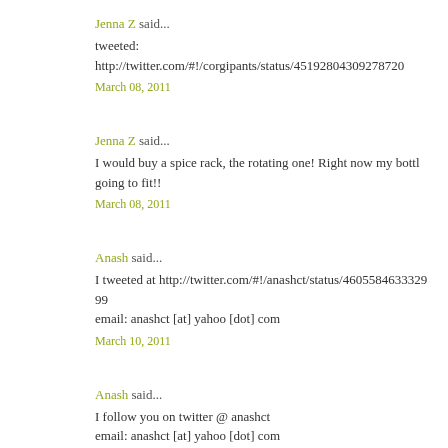Jenna Z said...
tweeted: http://twitter.com/#!/corgipants/status/45192804309278720
March 08, 2011
Jenna Z said...
I would buy a spice rack, the rotating one! Right now my bottl going to fit!!
March 08, 2011
Anash said...
I tweeted at http://twitter.com/#!/anashct/status/460558463332999 email: anashct [at] yahoo [dot] com
March 10, 2011
Anash said...
I follow you on twitter @ anashct email: anashct [at] yahoo [dot] com
March 10, 2011